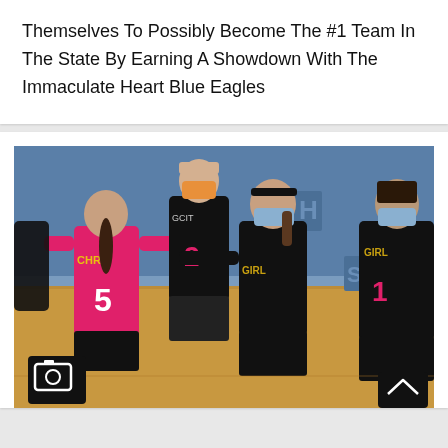Themselves To Possibly Become The #1 Team In The State By Earning A Showdown With The Immaculate Heart Blue Eagles
[Figure (photo): Volleyball players from two teams interacting on a gym court. Players wearing pink jerseys and black jerseys with masks on, in a high school gymnasium setting.]